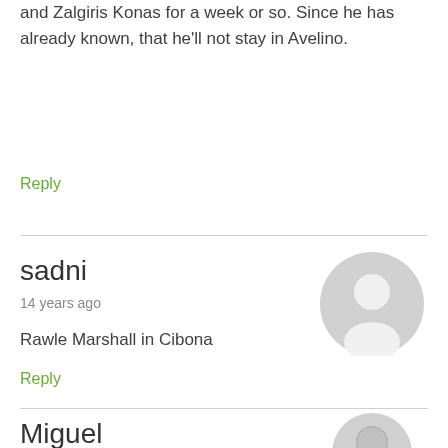and Zalgiris Konas for a week or so. Since he has already known, that he'll not stay in Avelino.
Reply
sadni
14 years ago
[Figure (illustration): Gray default user avatar circle icon]
Rawle Marshall in Cibona
Reply
Miguel
14 years ago
[Figure (illustration): Gray default user avatar circle icon]